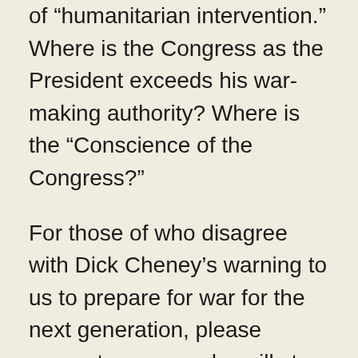of "humanitarian intervention." Where is the Congress as the President exceeds his war-making authority? Where is the “Conscience of the Congress?”
For those of who disagree with Dick Cheney’s warning to us to prepare for war for the next generation, please support any one who will stop this madness. Please organize and then vote for peace. People around the world need us to stand up and speak out for ourselves and them because Iran and Venezuela are also in the cross-hairs. Libyans don’t need NATO helicopter gunships, smart bombs, cruise